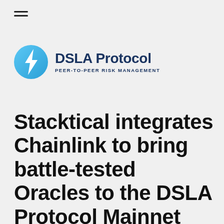≡
[Figure (logo): DSLA Protocol logo: a blue circle with a white lightning bolt icon, followed by bold dark navy text 'DSLA Protocol' and subtitle 'PEER-TO-PEER RISK MANAGEMENT']
Stacktical integrates Chainlink to bring battle-tested Oracles to the DSLA Protocol Mainnet